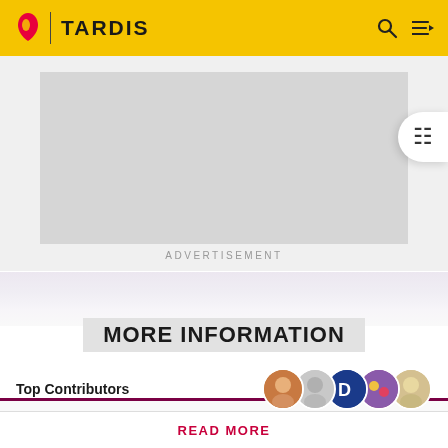TARDIS
[Figure (screenshot): Gray advertisement placeholder box]
ADVERTISEMENT
MORE INFORMATION
Top Contributors
[Figure (photo): Five contributor avatar circles]
Spoilers are precisely defined here. Rules vary by the story's medium. Info from television stories can't be added here
READ MORE